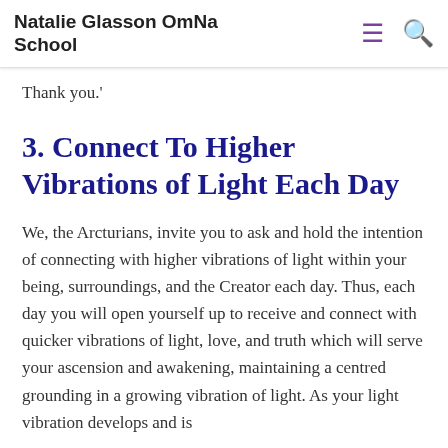Natalie Glasson OmNa School
Thank you.'
3. Connect To Higher Vibrations of Light Each Day
We, the Arcturians, invite you to ask and hold the intention of connecting with higher vibrations of light within your being, surroundings, and the Creator each day. Thus, each day you will open yourself up to receive and connect with quicker vibrations of light, love, and truth which will serve your ascension and awakening, maintaining a centred grounding in a growing vibration of light. As your light vibration develops and is